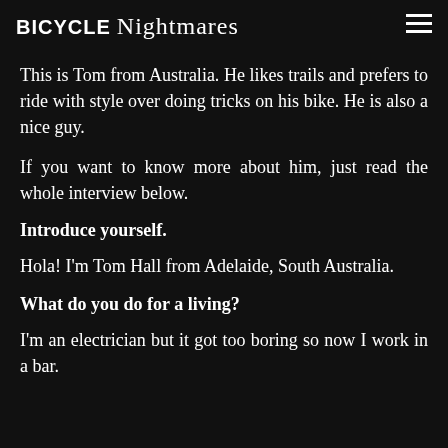BICYCLE Nightmares
This is Tom from Australia. He likes trails and prefers to ride with style over doing tricks on his bike. He is also a nice guy.
If you want to know more about him, just read the whole interview below.
Introduce yourself.
Hola! I'm Tom Hall from Adelaide, South Australia.
What do you do for a living?
I'm an electrician but it got too boring so now I work in a bar.